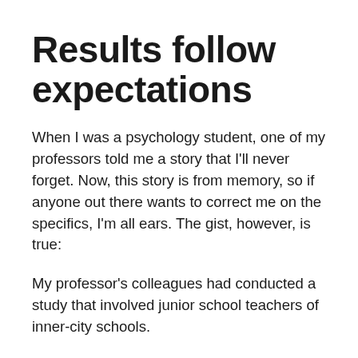Results follow expectations
When I was a psychology student, one of my professors told me a story that I'll never forget. Now, this story is from memory, so if anyone out there wants to correct me on the specifics, I'm all ears. The gist, however, is true:
My professor's colleagues had conducted a study that involved junior school teachers of inner-city schools.